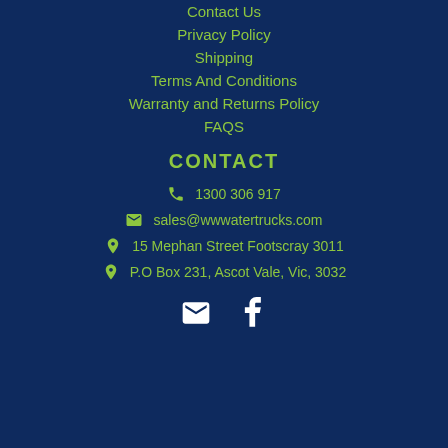Contact Us
Privacy Policy
Shipping
Terms And Conditions
Warranty and Returns Policy
FAQS
CONTACT
1300 306 917
sales@wwwatertrucks.com
15 Mephan Street Footscray 3011
P.O Box 231, Ascot Vale, Vic, 3032
[Figure (other): Email and Facebook social icons]